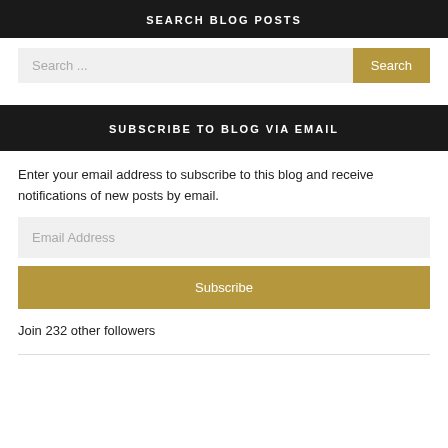SEARCH BLOG POSTS
Search ...
SUBSCRIBE TO BLOG VIA EMAIL
Enter your email address to subscribe to this blog and receive notifications of new posts by email.
Email Address
Subscribe
Join 232 other followers